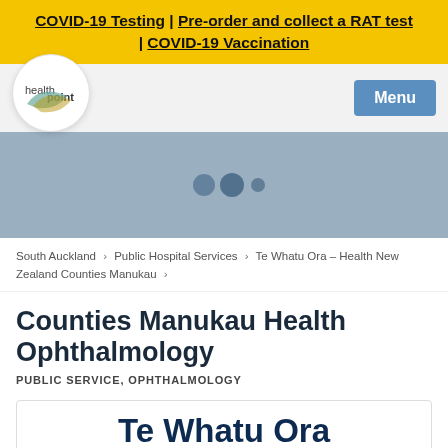COVID-19 Testing | Pre-order and collect a RAT test | COVID-19 Vaccination
[Figure (logo): HealthPoint logo - circular white logo with health point text and a blue swoosh graphic]
Menu
[Figure (other): Blue-grey hero slider area with three dot navigation indicators]
South Auckland > Public Hospital Services > Te Whatu Ora – Health New Zealand Counties Manukau >
Counties Manukau Health Ophthalmology
PUBLIC SERVICE, OPHTHALMOLOGY
[Figure (logo): Te Whatu Ora - Health New Zealand logo card with dark blue and blue text]